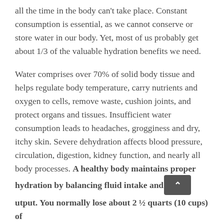all the time in the body can't take place. Constant consumption is essential, as we cannot conserve or store water in our body. Yet, most of us probably get about 1/3 of the valuable hydration benefits we need.
Water comprises over 70% of solid body tissue and helps regulate body temperature, carry nutrients and oxygen to cells, remove waste, cushion joints, and protect organs and tissues. Insufficient water consumption leads to headaches, grogginess and dry, itchy skin. Severe dehydration affects blood pressure, circulation, digestion, kidney function, and nearly all body processes. A healthy body maintains proper hydration by balancing fluid intake and output. You normally lose about 2 ½ quarts (10 cups) of